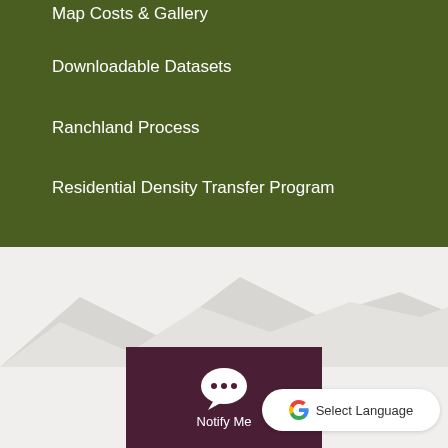Map Costs & Gallery
Downloadable Datasets
Ranchland Process
Residential Density Transfer Program
[Figure (illustration): Mountain silhouette decorative background in light grey]
[Figure (logo): Notify Me chat bubble icon with three dots on dark maroon background with text Notify Me]
[Figure (logo): Google G logo with Select Language text in white pill-shaped button]